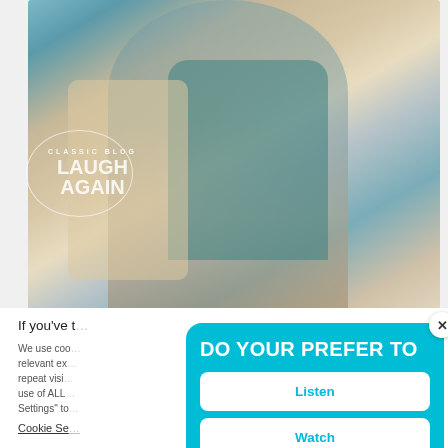[Figure (photo): Photo of an elderly person sitting and holding a smartphone, wearing a floral patterned top and cardigan. A 'Classic Blog – Laugh Again' circular watermark logo is overlaid in white on the lower left of the image.]
If you've t…
We use coo… relevant ex… repeat visi… use of ALL… Settings" to…
Cookie Se…
[Figure (screenshot): A modal popup dialog with a cyan/light-blue background. Title reads 'DO YOUR PREFER TO' in large white bold uppercase text. Three white buttons labeled 'Listen', 'Watch', and 'Read' in cyan text. Footer text reads 'Laugh Again Resources' in white. A white circular close button (×) in the top right corner of the modal.]
English